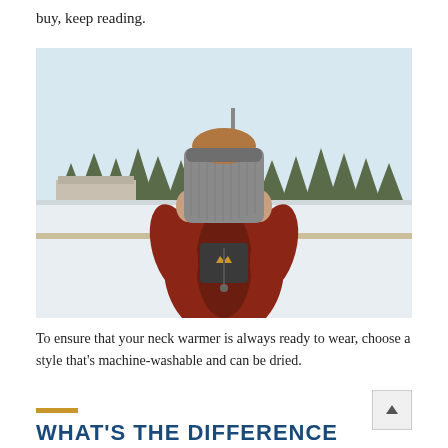buy, keep reading.
[Figure (photo): Person wearing a red fleece jacket and grey knit neck warmer/headband pulled over their face, standing outdoors in a snowy landscape with evergreen trees in the background.]
To ensure that your neck warmer is always ready to wear, choose a style that’s machine-washable and can be dried.
WHAT'S THE DIFFERENCE